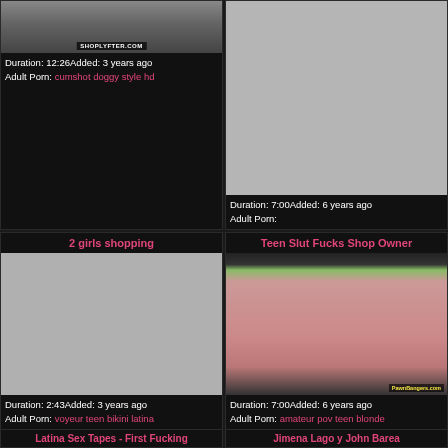[Figure (screenshot): Video thumbnail top-left card with watermark SHOPLYFTER.COM]
Duration: 12:26Added: 3 years ago
Adult Porn: cumshot doggy style hd
[Figure (screenshot): Video thumbnail top-right card, grey placeholder]
Duration: 7:00Added: 6 years ago
Adult Porn:
2 girls shopping
[Figure (screenshot): Video thumbnail bottom-left card, grey placeholder]
Duration: 2:43Added: 3 years ago
Adult Porn: voyeur teen bikini latina
Teen Slut Fucks Shop Owner
[Figure (screenshot): Video thumbnail bottom-right card with PawnBangers.com watermark]
Duration: 7:00Added: 6 years ago
Adult Porn: amateur pov teen blonde
Latina Sex Tapes - First Fucking
Jimena Lago y John Barea